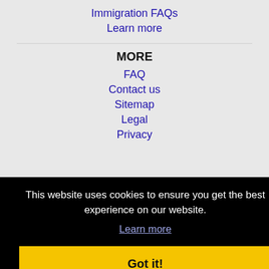Immigration FAQs
Learn more
MORE
FAQ
Contact us
Sitemap
Legal
Privacy
This website uses cookies to ensure you get the best experience on our website.
Learn more
Got it!
Bloomfield, NJ Jobs